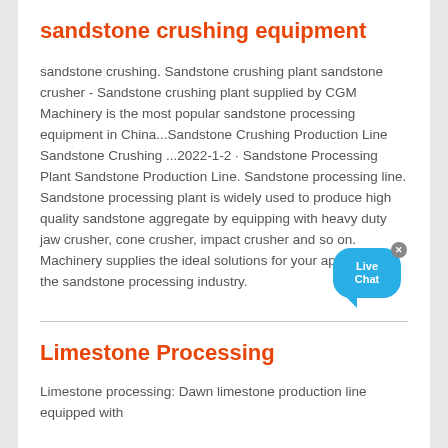sandstone crushing equipment
sandstone crushing. Sandstone crushing plant sandstone crusher - Sandstone crushing plant supplied by CGM Machinery is the most popular sandstone processing equipment in China...Sandstone Crushing Production Line Sandstone Crushing ...2022-1-2 · Sandstone Processing Plant Sandstone Production Line. Sandstone processing line. Sandstone processing plant is widely used to produce high quality sandstone aggregate by equipping with heavy duty jaw crusher, cone crusher, impact crusher and so on. Machinery supplies the ideal solutions for your application in the sandstone processing industry.
Limestone Processing
Limestone processing: Dawn limestone production line equipped with